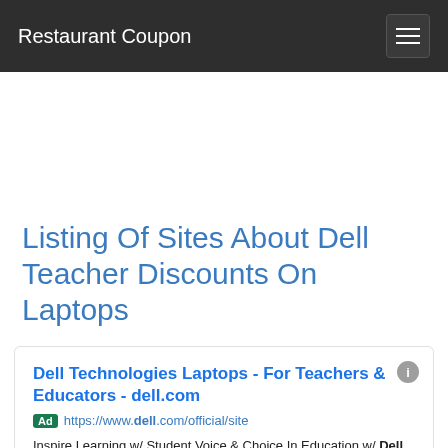Restaurant Coupon
Listing Of Sites About Dell Teacher Discounts On Laptops
Dell Technologies Laptops - For Teachers & Educators - dell.com
Ad https://www.dell.com/official/site
Inspire Learning w/ Student Voice & Choice In Education w/ Dell Technologies & Intel Core. Special Offers. Best in Class. Easy Returns. Free Shipping. Types: Laptops, Desktops.
Shop Latitude Laptops
Dell Rugged Laptops